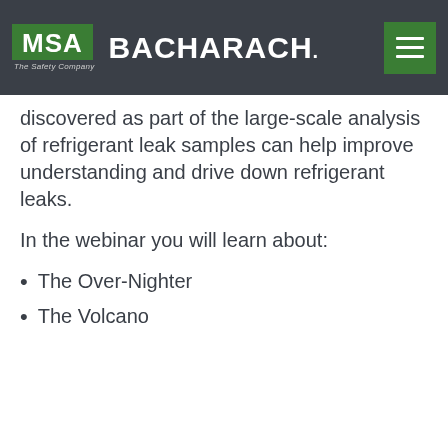MSA The Safety Company | BACHARACH.
discovered as part of the large-scale analysis of refrigerant leak samples can help improve understanding and drive down refrigerant leaks.
In the webinar you will learn about:
The Over-Nighter
The Volcano